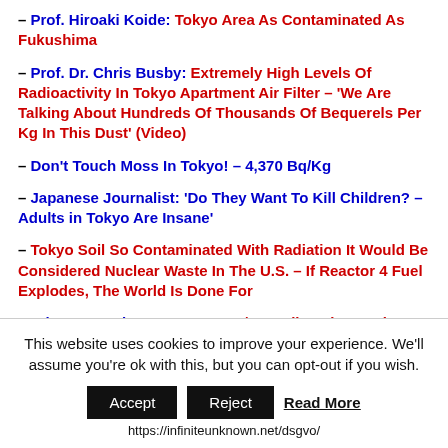– Prof. Hiroaki Koide: Tokyo Area As Contaminated As Fukushima
– Prof. Dr. Chris Busby: Extremely High Levels Of Radioactivity In Tokyo Apartment Air Filter – 'We Are Talking About Hundreds Of Thousands Of Bequerels Per Kg In This Dust' (Video)
– Don't Touch Moss In Tokyo! – 4,370 Bq/Kg
– Japanese Journalist: 'Do They Want To Kill Children? – Adults in Tokyo Are Insane'
– Tokyo Soil So Contaminated With Radiation It Would Be Considered Nuclear Waste In The U.S. – If Reactor 4 Fuel Explodes, The World Is Done For
– Edogawa, Tokyo: 2,566,720Bq/㎡ Radioactive Cesium
This website uses cookies to improve your experience. We'll assume you're ok with this, but you can opt-out if you wish.
Accept   Reject   Read More
https://infiniteunknown.net/dsgvo/